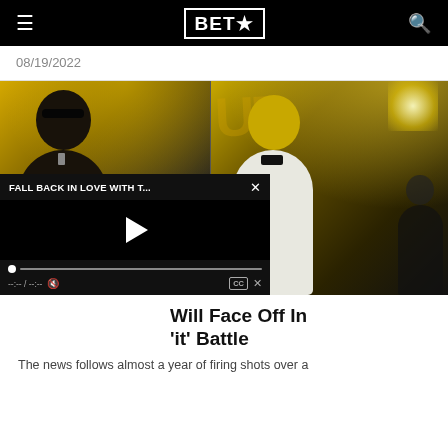BET★
08/19/2022
[Figure (photo): Two performers on stage in concert lighting. Left performer in dark outfit with sunglasses holding microphone. Right performer in white suit holding microphone. Golden stage lighting with letters visible in background. Video player overlay showing 'FALL BACK IN LOVE WITH T...' with playback controls.]
Will Face Off In 'it' Battle
The news follows almost a year of firing shots over a